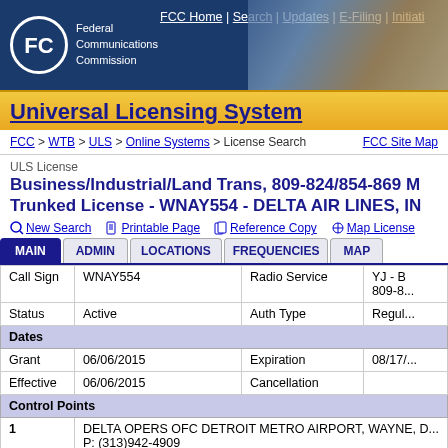FCC Home | Search | Updates | E-Filing | Initiati...
Universal Licensing System
FCC > WTB > ULS > Online Systems > License Search
FCC Site Map
ULS License
Business/Industrial/Land Trans, 809-824/854-869 M... Trunked License - WNAY554 - DELTA AIR LINES, IN...
New Search   Printable Page   Reference Copy   Map License
| Field | Value | Field | Value |
| --- | --- | --- | --- |
| Call Sign | WNAY554 | Radio Service | YJ - B 809-8... |
| Status | Active | Auth Type | Regul... |
| Dates |  |  |  |
| Grant | 06/06/2015 | Expiration | 08/17/... |
| Effective | 06/06/2015 | Cancellation |  |
| Control Points |  |  |  |
| 1 | DELTA OPERS OFC DETROIT METRO AIRPORT, WAYNE, D... P: (313)942-4909 |  |  |